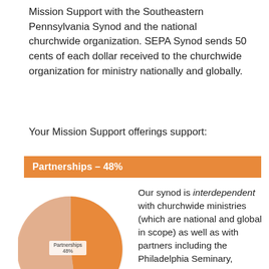Mission Support with the Southeastern Pennsylvania Synod and the national churchwide organization. SEPA Synod sends 50 cents of each dollar received to the churchwide organization for ministry nationally and globally.
Your Mission Support offerings support:
Partnerships – 48%
[Figure (pie-chart): Partnerships]
Our synod is interdependent with churchwide ministries (which are national and global in scope) as well as with partners including the Philadelphia Seminary,